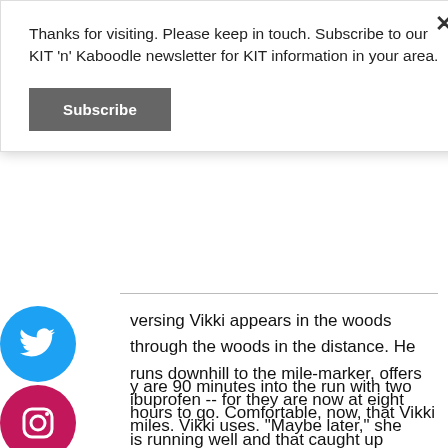Thanks for visiting. Please keep in touch. Subscribe to our KIT 'n' Kaboodle newsletter for KIT information in your area.
[Figure (other): Subscribe button - gray rectangular button with white bold text 'Subscribe']
[Figure (other): Social media icons column: Twitter (blue), Instagram (pink), YouTube (red), Facebook (dark blue), Pinterest (red) - circular icons on left side]
versing Vikki appears in the woods through the woods in the distance. He runs downhill to the mile-marker, offers ibuprofen -- for they are now at eight miles. Vikki uses. "Maybe later," she says.
y are 90 minutes into the run with two hours to go. Comfortable, now, that Vikki is running well and that caught up without issue, Michael opts to take an Instagram video update with his new camera phone. To capture the moment, he begins running backwards to